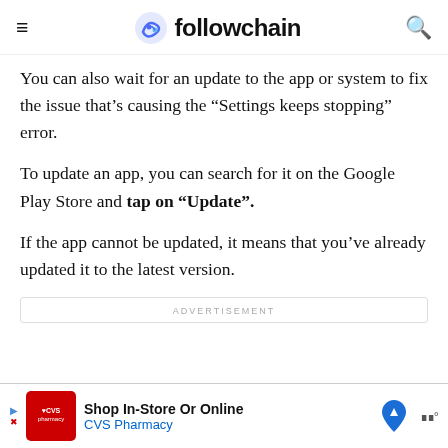followchain
You can also wait for an update to the app or system to fix the issue that’s causing the “Settings keeps stopping” error.
To update an app, you can search for it on the Google Play Store and tap on “Update”.
If the app cannot be updated, it means that you’ve already updated it to the latest version.
ADVERTISEMENT
[Figure (other): CVS Pharmacy advertisement banner: Shop In-Store Or Online, CVS Pharmacy]